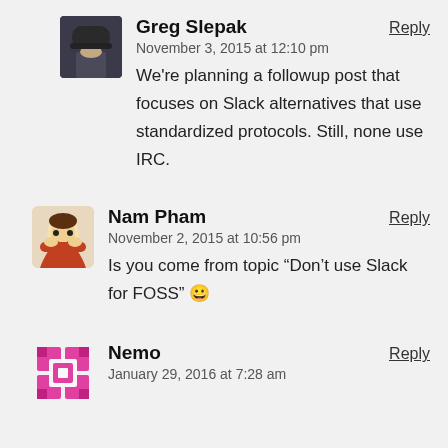Greg Slepak — November 3, 2015 at 12:10 pm — We're planning a followup post that focuses on Slack alternatives that use standardized protocols. Still, none use IRC.
Nam Pham — November 2, 2015 at 10:56 pm — Is you come from topic “Don’t use Slack for FOSS” 😀
Nemo — January 29, 2016 at 7:28 am